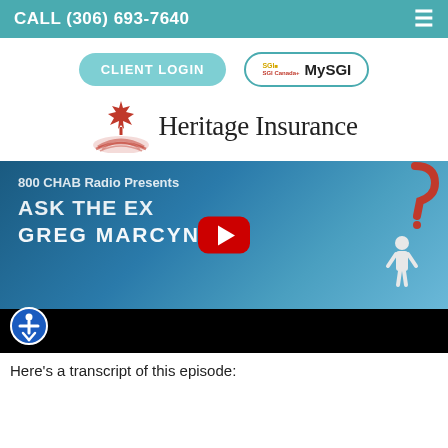CALL (306) 693-7640
[Figure (screenshot): CLIENT LOGIN button (teal rounded rectangle) and MySGI button (outlined rounded rectangle with SGI logo)]
[Figure (logo): Heritage Insurance logo with red Canadian maple leaf and road graphic, text reads Heritage Insurance]
[Figure (screenshot): YouTube video thumbnail: 800 CHAB Radio Presents ASK THE EXPERT GREG MARCYNIUK, with YouTube play button and question mark graphic. Black bar below with accessibility icon.]
Here's a transcript of this episode: